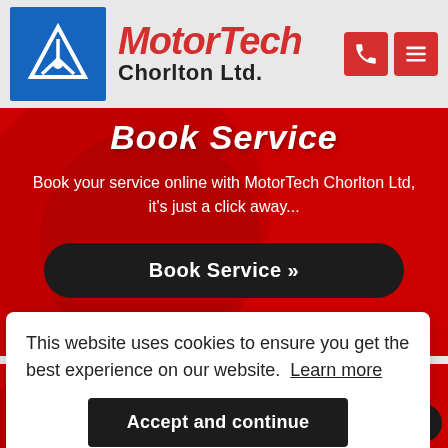[Figure (logo): MotorTech Chorlton Ltd logo with blue box containing radiation/triangle symbol, red italic MotorTech text and black Chorlton Ltd. text]
Book Service
Book your service online with MotorTech Chorlton Ltd, it's just a click away...
Book Service »
Book Repair
This website uses cookies to ensure you get the best experience on our website.  Learn more
Accept and continue